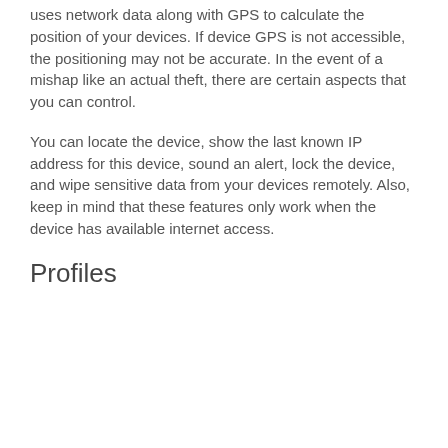uses network data along with GPS to calculate the position of your devices. If device GPS is not accessible, the positioning may not be accurate. In the event of a mishap like an actual theft, there are certain aspects that you can control.
You can locate the device, show the last known IP address for this device, sound an alert, lock the device, and wipe sensitive data from your devices remotely. Also, keep in mind that these features only work when the device has available internet access.
Profiles